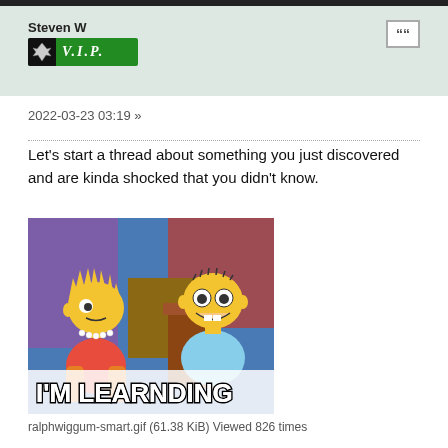Steven W
[Figure (illustration): VIP badge with eagle icon and green background showing V.I.P. text]
2022-03-23 03:19 »
Let's start a thread about something you just discovered and are kinda shocked that you didn't know.
[Figure (illustration): Simpsons meme image showing Lisa Simpson and Ralph Wiggum with text 'I'M LEARNDING' at the bottom]
ralphwiggum-smart.gif (61.38 KiB) Viewed 826 times